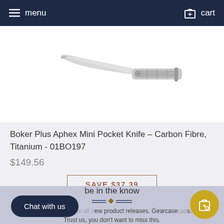menu   cart
[Figure (photo): A pocket knife (Boker Plus Aphex Mini) shown against a white background, blade pointing left-upward]
Boker Plus Aphex Mini Pocket Knife – Carbon Fibre, Titanium - 01BO197
$149.56
SAVE $37.39
be in the know
Ex... new product releases. Gearcase...s. Trust us, you don't want to miss this.
Chat with us